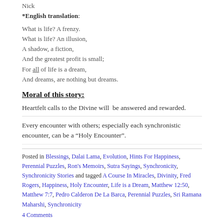Nick
*English translation:
What is life? A frenzy.
What is life? An illusion,
A shadow, a fiction,
And the greatest profit is small;
For all of life is a dream,
And dreams, are nothing but dreams.
Moral of this story:
Heartfelt calls to the Divine will  be answered and rewarded.
Every encounter with others; especially each synchronistic encounter, can be a “Holy Encounter”.
Posted in Blessings, Dalai Lama, Evolution, Hints For Happiness, Perennial Puzzles, Ron's Memoirs, Sutra Sayings, Synchronicity, Synchronicity Stories and tagged A Course In Miracles, Divinity, Fred Rogers, Happiness, Holy Encounter, Life is a Dream, Matthew 12:50, Matthew 7:7, Pedro Calderon De La Barca, Perennial Puzzles, Sri Ramana Maharshi, Synchronicity
4 Comments